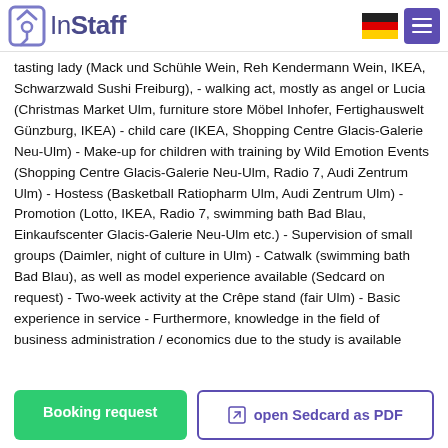InStaff
tasting lady (Mack und Schühle Wein, Reh Kendermann Wein, IKEA, Schwarzwald Sushi Freiburg), - walking act, mostly as angel or Lucia (Christmas Market Ulm, furniture store Möbel Inhofer, Fertighauswelt Günzburg, IKEA) - child care (IKEA, Shopping Centre Glacis-Galerie Neu-Ulm) - Make-up for children with training by Wild Emotion Events (Shopping Centre Glacis-Galerie Neu-Ulm, Radio 7, Audi Zentrum Ulm) - Hostess (Basketball Ratiopharm Ulm, Audi Zentrum Ulm) - Promotion (Lotto, IKEA, Radio 7, swimming bath Bad Blau, Einkaufscenter Glacis-Galerie Neu-Ulm etc.) - Supervision of small groups (Daimler, night of culture in Ulm) - Catwalk (swimming bath Bad Blau), as well as model experience available (Sedcard on request) - Two-week activity at the Crêpe stand (fair Ulm) - Basic experience in service - Furthermore, knowledge in the field of business administration / economics due to the study is available
Booking request
open Sedcard as PDF